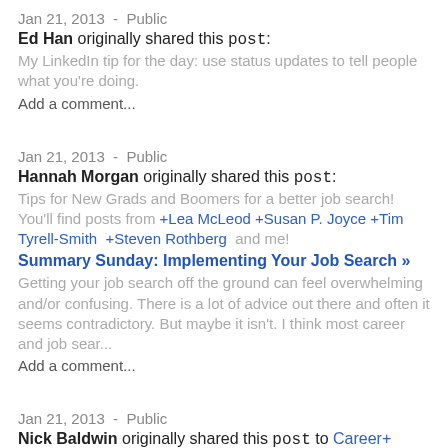Jan 21, 2013  -  Public
Ed Han originally shared this post: My LinkedIn tip for the day: use status updates to tell people what you're doing. Add a comment...
Jan 21, 2013  -  Public
Hannah Morgan originally shared this post: Tips for New Grads and Boomers for a better job search! You'll find posts from +Lea McLeod +Susan P. Joyce +Tim Tyrell-Smith  +Steven Rothberg  and me! Summary Sunday: Implementing Your Job Search » Getting your job search off the ground can feel overwhelming and/or confusing. There is a lot of advice out there and often it seems contradictory. But maybe it isn't. I think most career and job sear... Add a comment...
Jan 21, 2013  -  Public
Nick Baldwin originally shared this post to Career+ Connections (Questions):